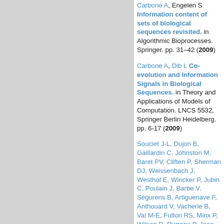Carbone A, Engelen S Information content of sets of biological sequences revisited. in Algorithmic Bioprocesses. Springer. pp. 31–42 (2009)
Carbone A, Dib L Co-evolution and Information Signals in Biological Sequences. in Theory and Applications of Models of Computation. LNCS 5532, Springer Berlin Heidelberg. pp. 6-17 (2009)
Souciet J-L, Dujon B, Gaillardin C, Johnston M, Baret PV, Cliften P, Sherman DJ, Weissenbach J, Westhof E, Wincker P, Jubin C, Poulain J, Barbe V, Ségurens B, Artiguenave F, Anthouard V, Vacherie B, Val M-E, Fulton RS, Minx P, Wilson R, Durrens P, Jean G, Marck C, Martin T, Nikolski M, Rolland T, Seret M-L, Casaregola S, Despons L, Fairhead C, Fischer G, Lafontaine I, Leh V, Lemaire M, De Montigny J, Neuvéglise C, Thierry A, Blanc-Lenfle I, Bleykasten C, Diffels J, Fritsch E, Frangeul L, Goëffon A, Jauniaux N, Kachouri-Lafond R, Payen C, Potier S, Pribylova L, Ozanne C, Richard G-F, Sacerdot...